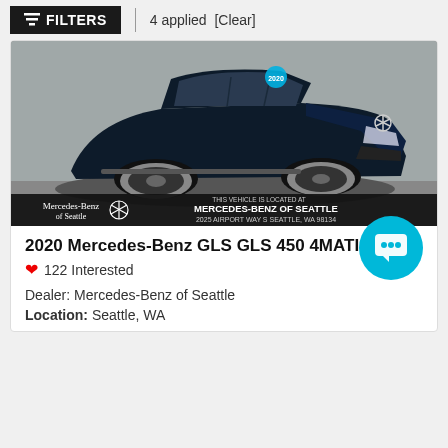FILTERS | 4 applied [Clear]
[Figure (photo): Dark navy blue 2020 Mercedes-Benz GLS 450 4MATIC SUV parked in a lot, photographed from front-left angle. Dealer overlay at bottom reads: Mercedes-Benz of Seattle logo on left, and on right: THIS VEHICLE IS LOCATED AT MERCEDES-BENZ OF SEATTLE 2025 AIRPORT WAY S SEATTLE, WA 98134]
2020 Mercedes-Benz GLS GLS 450 4MATIC
❤ 122 Interested
Dealer: Mercedes-Benz of Seattle
Location: Seattle, WA